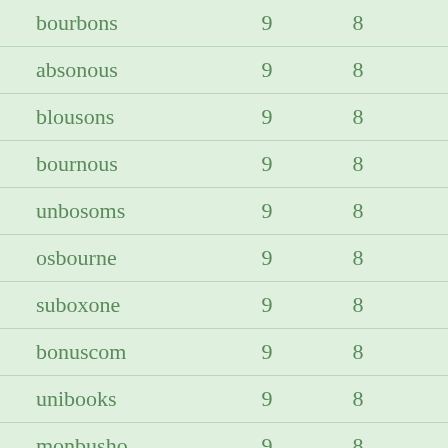| bourbons | 9 | 8 |
| absonous | 9 | 8 |
| blousons | 9 | 8 |
| bournous | 9 | 8 |
| unbosoms | 9 | 8 |
| osbourne | 9 | 8 |
| suboxone | 9 | 8 |
| bonuscom | 9 | 8 |
| unibooks | 9 | 8 |
| monbusho | 9 | 8 |